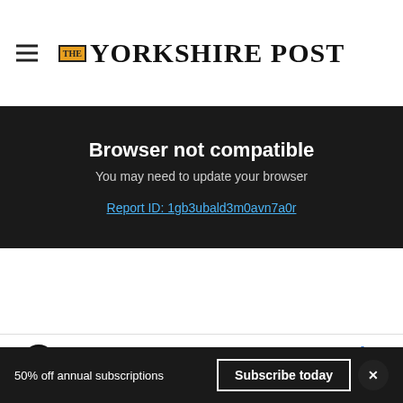THE YORKSHIRE POST
Browser not compatible
You may need to update your browser
Report ID: 1gb3ubald3m0avn7a0r
[Figure (other): Gray background area with white/silver gradient panel representing a video or content placeholder]
[Figure (other): Advertisement banner: Save Up to 65% Leesburg Premium Outlets]
50% off annual subscriptions
Subscribe today